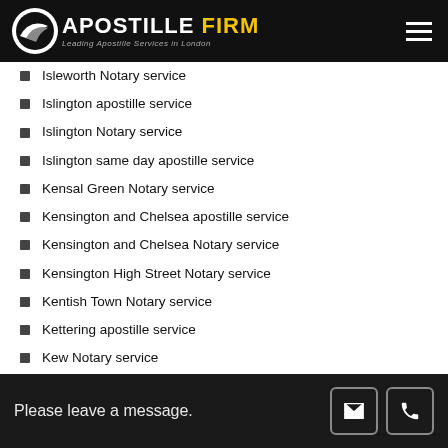APOSTILLE FIRM — Leading Apostille Services in London
Isleworth Notary service
Islington apostille service
Islington Notary service
Islington same day apostille service
Kensal Green Notary service
Kensington and Chelsea apostille service
Kensington and Chelsea Notary service
Kensington High Street Notary service
Kentish Town Notary service
Kettering apostille service
Kew Notary service
Kilburn Notary service
King's Lynn and West Norfolk apostille
Please leave a message.